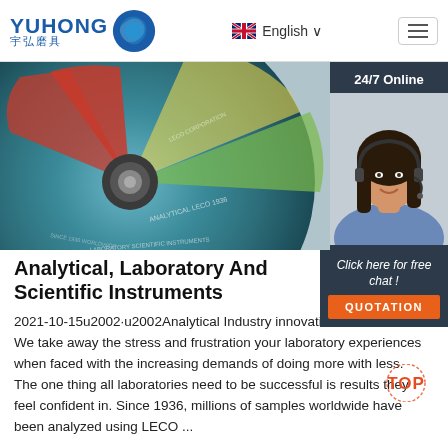YUHONG 宇弘磨具 | English
[Figure (photo): Close-up photo of a colorful grinding/cutting disc with text around its edge. A 24/7 Online customer service panel is overlaid on the right with an operator photo.]
Analytical, Laboratory And Scientific Instruments
2021-10-15u2002·u2002Analytical Industry innovations since 1936. We take away the stress and frustration your laboratory experiences when faced with the increasing demands of doing more with less. The one thing all laboratories need to be successful is results they feel confident in. Since 1936, millions of samples worldwide have been analyzed using LECO ...